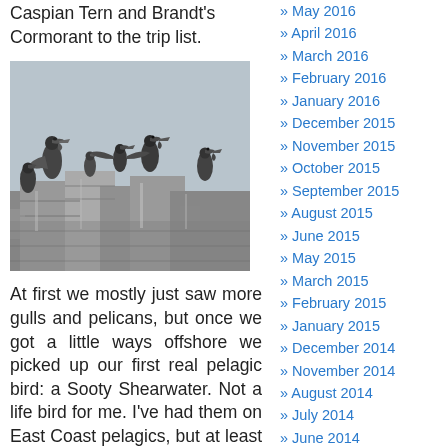Caspian Tern and Brandt's Cormorant to the trip list.
[Figure (photo): Black and white photograph of pelicans and seabirds perched on rocky outcroppings by the coast]
At first we mostly just saw more gulls and pelicans, but once we got a little ways offshore we picked up our first real pelagic bird: a Sooty Shearwater. Not a life bird for me. I've had them on East Coast pelagics, but at least one for my California list, and the first Shearwater...
May 2016
April 2016
March 2016
February 2016
January 2016
December 2015
November 2015
October 2015
September 2015
August 2015
June 2015
May 2015
March 2015
February 2015
January 2015
December 2014
November 2014
August 2014
July 2014
June 2014